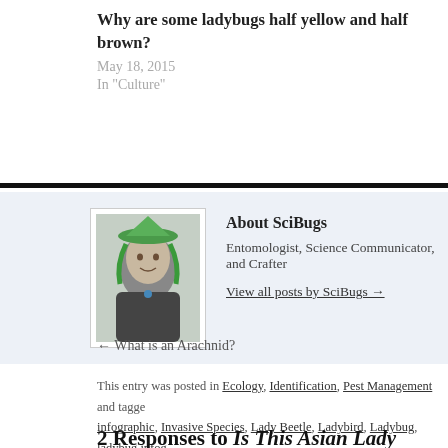Why are some ladybugs half yellow and half brown?
May 18, 2015
In "Culture"
[Figure (photo): Author photo of SciBugs — person with green hair and green hat]
About SciBugs
Entomologist, Science Communicator, and Crafter
View all posts by SciBugs →
This entry was posted in Ecology, Identification, Pest Management and tagged infographic, Invasive Species, Lady Beetle, Ladybird, Ladybug, ladybug infog... the permalink.
← What is an Arachnid?
2 Responses to Is This Asian Lady Beetle Meme True?
Pingback: Is This Asian Lady Beetle Meme True? - How To Kill Bed Bugs